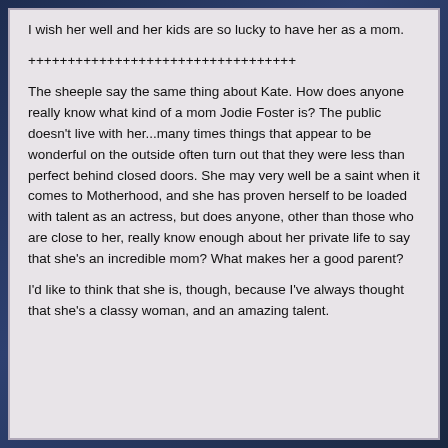I wish her well and her kids are so lucky to have her as a mom.
++++++++++++++++++++++++++++++++++
The sheeple say the same thing about Kate. How does anyone really know what kind of a mom Jodie Foster is? The public doesn't live with her...many times things that appear to be wonderful on the outside often turn out that they were less than perfect behind closed doors. She may very well be a saint when it comes to Motherhood, and she has proven herself to be loaded with talent as an actress, but does anyone, other than those who are close to her, really know enough about her private life to say that she's an incredible mom? What makes her a good parent?
I'd like to think that she is, though, because I've always thought that she's a classy woman, and an amazing talent.